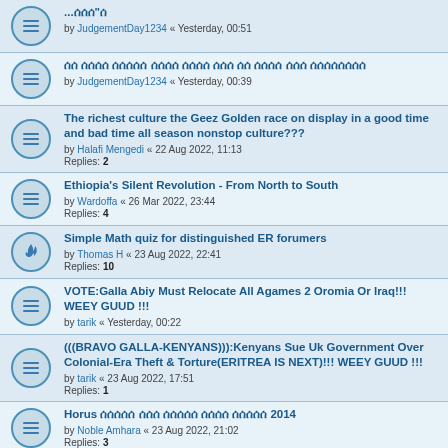...ሰሰሰ"ሰ by JudgementDay1234 « Yesterday, 00:51
ሰሰ ሰሰሰሰ ሰሰሰሰሰ ሰሰሰሰ ሰሰሰሰ ሰሰሰ ሰሰ ሰሰሰሰ ሰሰሰ ሰሰሰሰሰሰሰሰ by JudgementDay1234 « Yesterday, 00:39
The richest culture the Geez Golden race on display in a good time and bad time all season nonstop culture??? by Halafi Mengedi « 22 Aug 2022, 11:13 Replies: 2
Ethiopia's Silent Revolution - From North to South by Wardoffa « 26 Mar 2022, 23:44 Replies: 4
Simple Math quiz for distinguished ER forumers by Thomas H « 23 Aug 2022, 22:41 Replies: 10
VOTE:Galla Abiy Must Relocate All Agames 2 Oromia Or Iraq!!! WEEY GUUD !!! by tarik « Yesterday, 00:22
(((BRAVO GALLA-KENYANS))):Kenyans Sue Uk Government Over Colonial-Era Theft & Torture(ERITREA IS NEXT)!!! WEEY GUUD !!! by tarik « 23 Aug 2022, 17:51 Replies: 1
Horus ሰሰሰሰሰ ሰሰሰ ሰሰሰሰሰ ሰሰሰሰ ሰሰሰሰሰ 2014 by Noble Amhara « 23 Aug 2022, 21:02 Replies: 3
Weqait is free from Tplf, the entire Ethiopia from Addis to Debub is now under occupation by ethiopianunity « 23 Aug 2022, 23:43